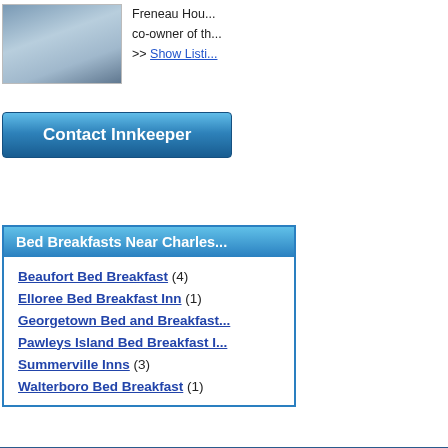[Figure (photo): Photo of a bed and breakfast room with a bed and furniture]
Freneau Hou... co-owner of th... >> Show Listi...
Contact Innkeeper
Bed Breakfasts Near Charles...
Beaufort Bed Breakfast (4)
Elloree Bed Breakfast Inn (1)
Georgetown Bed and Breakfast...
Pawleys Island Bed Breakfast I...
Summerville Inns (3)
Walterboro Bed Breakfast (1)
Bed and Breakfast Home   Online Recipes   Disclaimer
FindBedandBreakfast.com has quickly emerged on the web as one of the m... Inn, or other lodging accommodations worldwide. We are working hard mark... which often lead to guest reservations. We make it very simple for potentia... options and e...